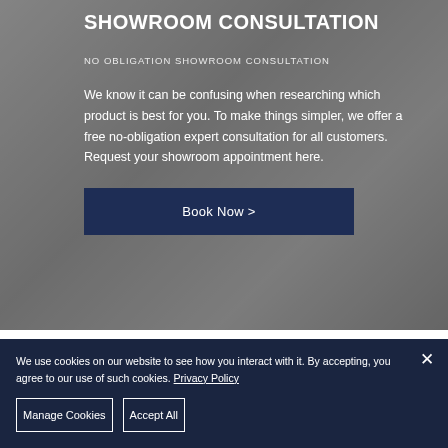[Figure (photo): Grayscale background photo showing a person, partially visible, used as a backdrop for a showroom consultation promotional section.]
SHOWROOM CONSULTATION
NO OBLIGATION SHOWROOM CONSULTATION
We know it can be confusing when researching which product is best for you. To make things simpler, we offer a free no-obligation expert consultation for all customers. Request your showroom appointment here.
Book Now >
We use cookies on our website to see how you interact with it. By accepting, you agree to our use of such cookies. Privacy Policy
Manage Cookies
Accept All